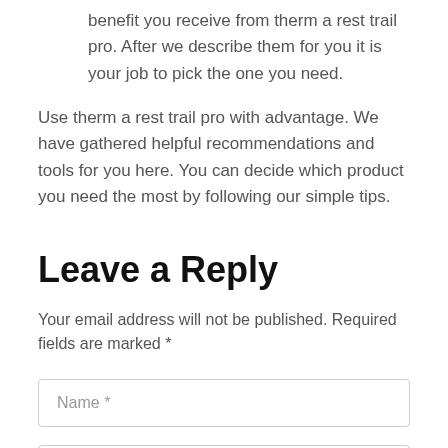benefit you receive from therm a rest trail pro. After we describe them for you it is your job to pick the one you need.
Use therm a rest trail pro with advantage. We have gathered helpful recommendations and tools for you here. You can decide which product you need the most by following our simple tips.
Leave a Reply
Your email address will not be published. Required fields are marked *
Name *
Email *